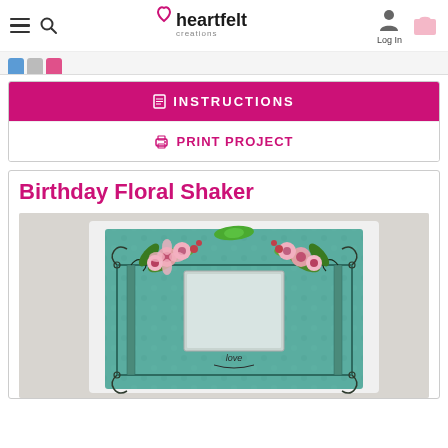Heartfelt Creations — Log In
INSTRUCTIONS
PRINT PROJECT
Birthday Floral Shaker
[Figure (photo): A handmade birthday floral shaker card featuring pink flowers, green leaves, and a decorative teal/mint frame with scrollwork, displayed on a grey background.]